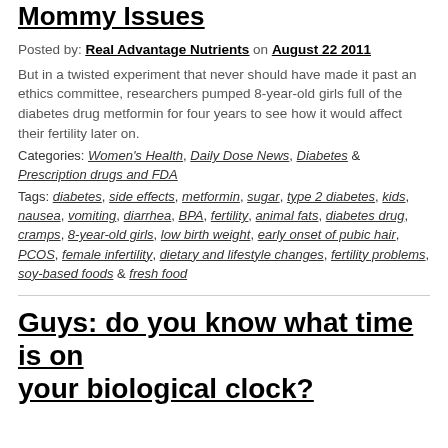Mommy Issues
Posted by: Real Advantage Nutrients on August 22 2011
But in a twisted experiment that never should have made it past an ethics committee, researchers pumped 8-year-old girls full of the diabetes drug metformin for four years to see how it would affect their fertility later on.
Categories: Women's Health, Daily Dose News, Diabetes & Prescription drugs and FDA
Tags: diabetes, side effects, metformin, sugar, type 2 diabetes, kids, nausea, vomiting, diarrhea, BPA, fertility, animal fats, diabetes drug, cramps, 8-year-old girls, low birth weight, early onset of pubic hair, PCOS, female infertility, dietary and lifestyle changes, fertility problems, soy-based foods & fresh food
Guys: do you know what time is on your biological clock?